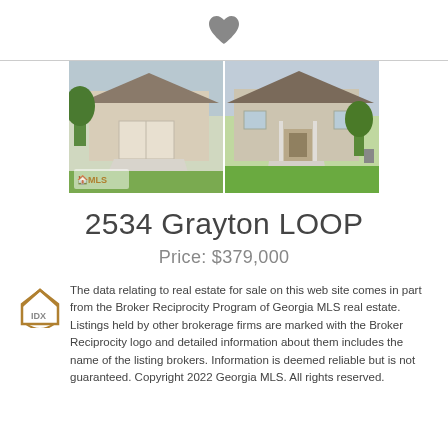[Figure (photo): Heart/favorite icon (gray filled heart)]
[Figure (photo): Exterior photo of 2534 Grayton LOOP showing garage, driveway, and green lawn with MLS logo watermark]
2534 Grayton LOOP
Price: $379,000
The data relating to real estate for sale on this web site comes in part from the Broker Reciprocity Program of Georgia MLS real estate. Listings held by other brokerage firms are marked with the Broker Reciprocity logo and detailed information about them includes the name of the listing brokers. Information is deemed reliable but is not guaranteed. Copyright 2022 Georgia MLS. All rights reserved.